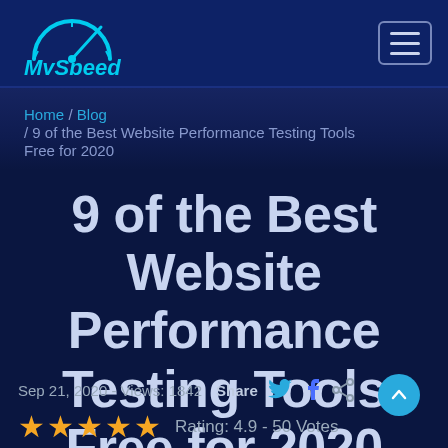[Figure (logo): MySpeed logo with speedometer arc graphic in cyan/blue on dark navy background]
MySpeed navigation bar with hamburger menu icon
Home / Blog / 9 of the Best Website Performance Testing Tools Free for 2020
9 of the Best Website Performance Testing Tools Free for 2020
Sep 21, 2020 - Views: 1842   Share
Rating: 4.9 - 50 Votes